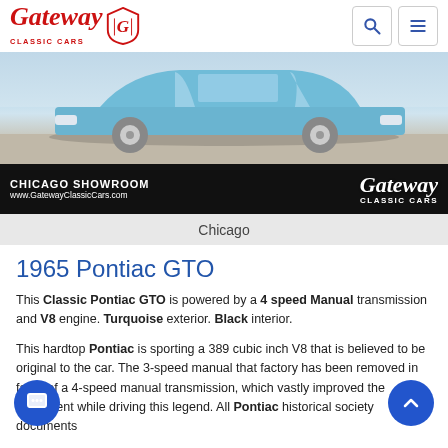Gateway Classic Cars logo and navigation
[Figure (photo): Blue 1965 Pontiac GTO classic car at Chicago Gateway Classic Cars showroom. Banner shows CHICAGO SHOWROOM www.GatewayClassicCars.com and Gateway Classic Cars script logo on black background.]
Chicago
1965 Pontiac GTO
This Classic Pontiac GTO is powered by a 4 speed Manual transmission and V8 engine. Turquoise exterior. Black interior.
This hardtop Pontiac is sporting a 389 cubic inch V8 that is believed to be original to the car. The 3-speed manual that factory has been removed in favor of a 4-speed manual transmission, which vastly improved the enjoyment while driving this legend. All Pontiac historical society documents